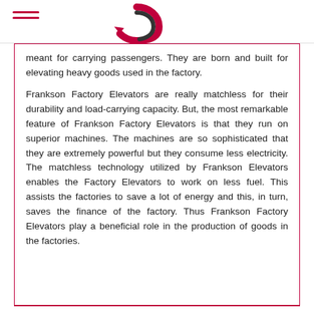meant for carrying passengers. They are born and built for elevating heavy goods used in the factory.
Frankson Factory Elevators are really matchless for their durability and load-carrying capacity. But, the most remarkable feature of Frankson Factory Elevators is that they run on superior machines. The machines are so sophisticated that they are extremely powerful but they consume less electricity. The matchless technology utilized by Frankson Elevators enables the Factory Elevators to work on less fuel. This assists the factories to save a lot of energy and this, in turn, saves the finance of the factory. Thus Frankson Factory Elevators play a beneficial role in the production of goods in the factories.